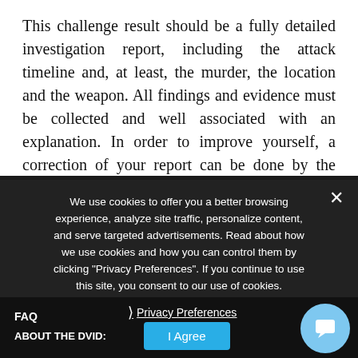This challenge result should be a fully detailed investigation report, including the attack timeline and, at least, the murder, the location and the weapon. All findings and evidence must be collected and well associated with an explanation. In order to improve yourself, a correction of your report can be done by the author.
We use cookies to offer you a better browsing experience, analyze site traffic, personalize content, and serve targeted advertisements. Read about how we use cookies and how you can control them by clicking "Privacy Preferences". If you continue to use this site, you consent to our use of cookies.
FAQ
ABOUT THE DVID:
Privacy Preferences
I Agree